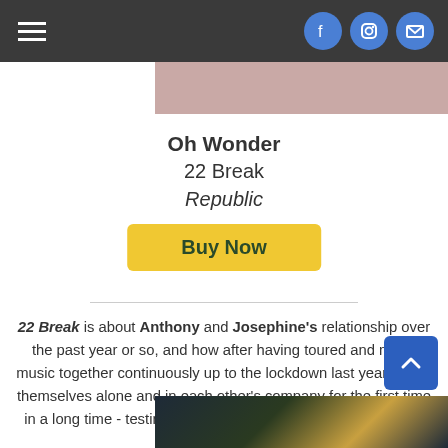Navigation bar with hamburger menu and social icons (Facebook, Instagram, Email)
Oh Wonder
22 Break
Republic
Buy Now
22 Break is about Anthony and Josephine's relationship over the past year or so, and how after having toured and made music together continuously up to the lockdown last year, found themselves alone and in each other's company for the first time in a long time - testing their relationship to the breaking point.
[Figure (photo): Bottom partial photo strip showing a dark scene]